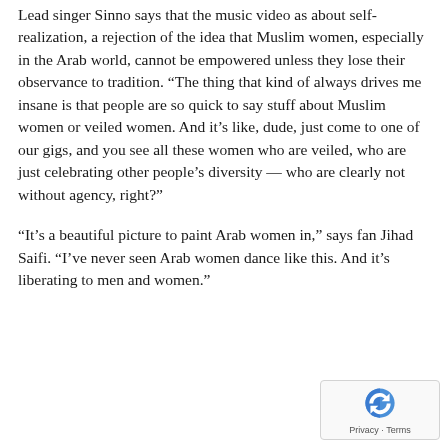Lead singer Sinno says that the music video as about self-realization, a rejection of the idea that Muslim women, especially in the Arab world, cannot be empowered unless they lose their observance to tradition. “The thing that kind of always drives me insane is that people are so quick to say stuff about Muslim women or veiled women. And it’s like, dude, just come to one of our gigs, and you see all these women who are veiled, who are just celebrating other people’s diversity — who are clearly not without agency, right?”
“It’s a beautiful picture to paint Arab women in,” says fan Jihad Saifi. “I’ve never seen Arab women dance like this. And it’s liberating to men and women.”